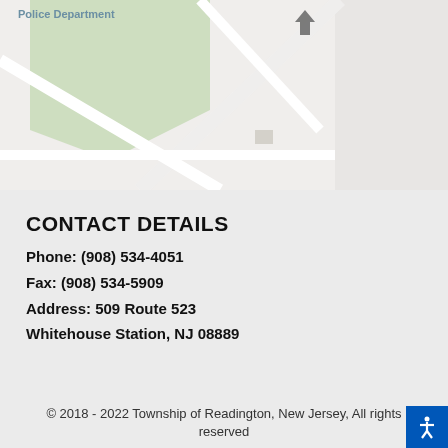[Figure (map): Partial street map showing road intersections near Police Department, with green area and road grid visible. 'Police Department' label with location pin shown at top left.]
CONTACT DETAILS
Phone: (908) 534-4051
Fax: (908) 534-5909
Address: 509 Route 523
Whitehouse Station, NJ 08889
© 2018 - 2022 Township of Readington, New Jersey, All rights reserved